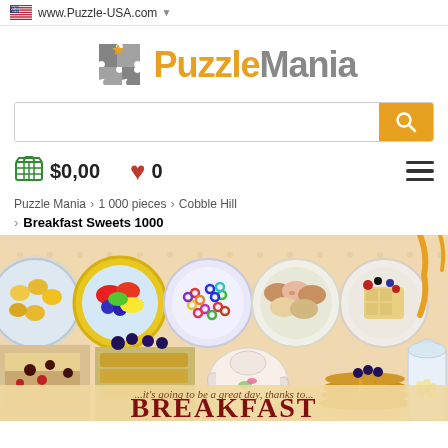www.Puzzle-USA.com
[Figure (logo): PuzzleMania logo with grey puzzle piece icon and orange/grey text]
[Figure (screenshot): Search bar with yellow search button]
$0,00   0
Puzzle Mania > 1 000 pieces > Cobble Hill > Breakfast Sweets 1000
[Figure (photo): Breakfast Sweets 1000 puzzle product image showing various breakfast foods including pastries, fruits, pancakes, macarons, cereals, waffles in circular plates]